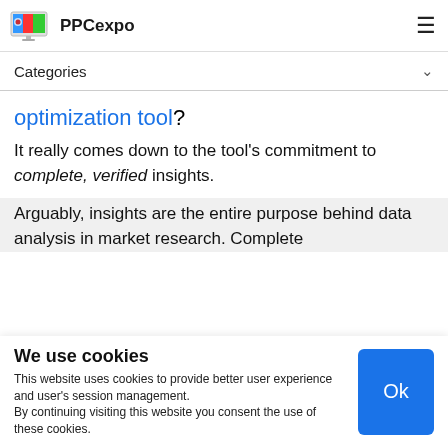PPCexpo
Categories
optimization tool?
It really comes down to the tool's commitment to complete, verified insights.
Arguably, insights are the entire purpose behind data analysis in market research. Complete
We use cookies
This website uses cookies to provide better user experience and user's session management.
By continuing visiting this website you consent the use of these cookies.